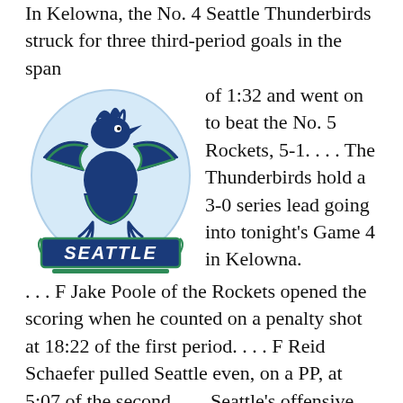In Kelowna, the No. 4 Seattle Thunderbirds struck for three third-period goals in the span of 1:32 and went on to beat the No. 5 Rockets, 5-1. . . . The Thunderbirds hold a 3-0 series lead going into tonight's Game 4 in Kelowna. . . . F Jake Poole of the Rockets opened the scoring when he counted on a penalty shot at 18:22 of the first period. . . . F Reid Schaefer pulled Seattle even, on a PP, at 5:07 of the second. . . . Seattle's offensive explosion began at 5:57 of the third period when D Kevin Korchinski scored for a 2-1 lead. . . . F Lukas Svejkovsky notched his fourth goal of the series, on a PP, at 7:12, and Korchinski added
[Figure (logo): Seattle Thunderbirds hockey team logo featuring a stylized Thunderbird above a banner reading SEATTLE in navy blue and green]